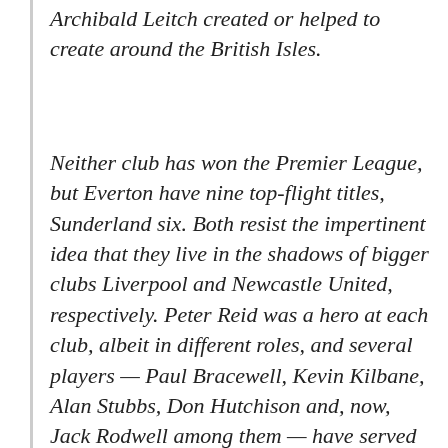Archibald Leitch created or helped to create around the British Isles.
Neither club has won the Premier League, but Everton have nine top-flight titles, Sunderland six. Both resist the impertinent idea that they live in the shadows of bigger clubs Liverpool and Newcastle United, respectively. Peter Reid was a hero at each club, albeit in different roles, and several players — Paul Bracewell, Kevin Kilbane, Alan Stubbs, Don Hutchison and, now, Jack Rodwell among them — have served both